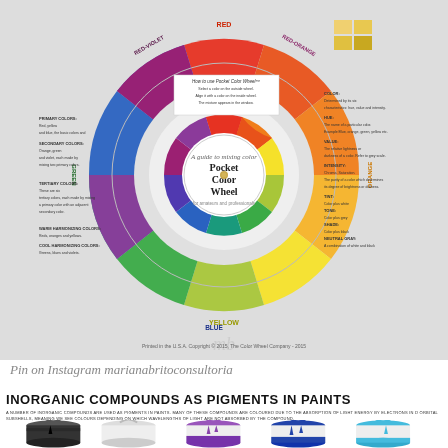[Figure (photo): Pocket Color Wheel - a circular color wheel tool showing primary, secondary, and tertiary colors with mixing guides. The wheel is shown from above on a light gray background with a watermark 'mb' in the center-bottom area.]
Pin on Instagram marianabritoconsultoria
INORGANIC COMPOUNDS AS PIGMENTS IN PAINTS
A NUMBER OF INORGANIC COMPOUNDS ARE USED AS PIGMENTS IN PAINTS. MANY OF THESE COMPOUNDS ARE COLOURED DUE TO THE ABSORPTION OF LIGHT ENERGY BY ELECTRONS IN d ORBITAL SUBSHELLS, MEANING WE SEE COLOURS DEPENDING ON WHICH WAVELENGTHS OF LIGHT ARE NOT ABSORBED BY THE COMPOUND.
[Figure (illustration): Five paint cans in a row showing different paint colors: black, white/light gray, purple, dark blue, and light blue/cyan, each with paint dripping down the sides.]